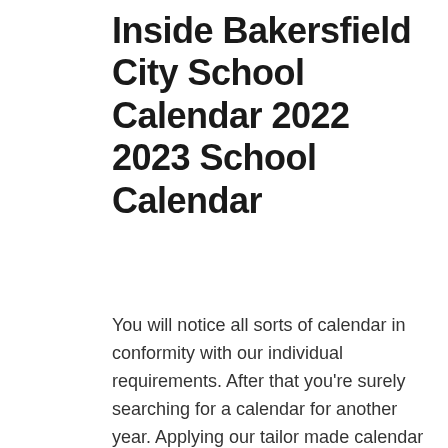Inside Bakersfield City School Calendar 2022 2023 School Calendar
You will notice all sorts of calendar in conformity with our individual requirements. After that you're surely searching for a calendar for another year. Applying our tailor made calendar tool it is possible to